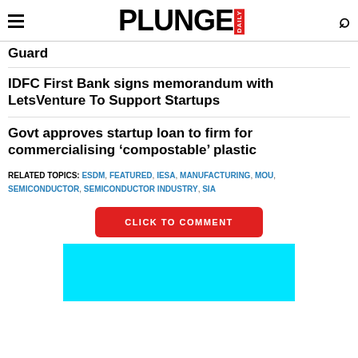PLUNGE DAILY
Guard
IDFC First Bank signs memorandum with LetsVenture To Support Startups
Govt approves startup loan to firm for commercialising ‘compostable’ plastic
RELATED TOPICS: ESDM, FEATURED, IESA, MANUFACTURING, MOU, SEMICONDUCTOR, SEMICONDUCTOR INDUSTRY, SIA
CLICK TO COMMENT
[Figure (other): Cyan/turquoise advertisement block]